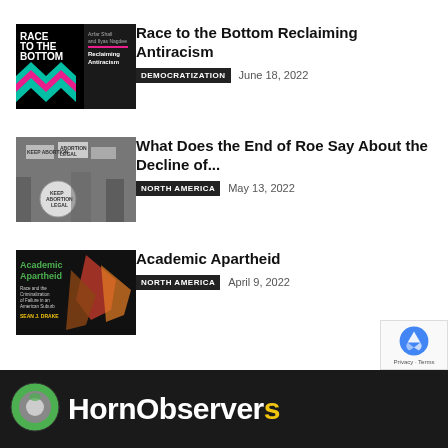[Figure (photo): Book cover: Race to the Bottom Reclaiming Antiracism, black background with colorful zigzag pattern]
Race to the Bottom Reclaiming Antiracism
DEMOCRATIZATION   June 18, 2022
[Figure (photo): Black and white photo of protest crowd holding signs including 'Keep Abortion Legal']
What Does the End of Roe Say About the Decline of...
NORTH AMERICA   May 13, 2022
[Figure (photo): Book cover: Academic Apartheid - Race and the Criminalization of Failure in an American Suburb by Sean J. Drake, dark background]
Academic Apartheid
NORTH AMERICA   April 9, 2022
HornObservers